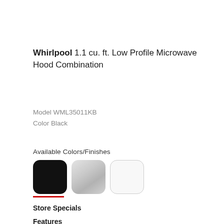Whirlpool 1.1 cu. ft. Low Profile Microwave Hood Combination
Model WML35011KB
Color Black
Available Colors/Finishes
[Figure (infographic): Three color swatches: Black (selected, with red underline), Silver/Stainless, White]
Store Specials
Features
Low Profile Design